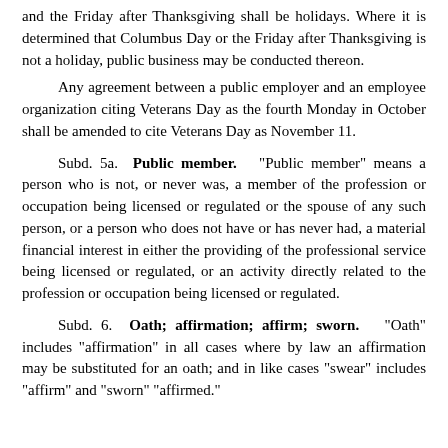and the Friday after Thanksgiving shall be holidays. Where it is determined that Columbus Day or the Friday after Thanksgiving is not a holiday, public business may be conducted thereon.
Any agreement between a public employer and an employee organization citing Veterans Day as the fourth Monday in October shall be amended to cite Veterans Day as November 11.
Subd. 5a. Public member. "Public member" means a person who is not, or never was, a member of the profession or occupation being licensed or regulated or the spouse of any such person, or a person who does not have or has never had, a material financial interest in either the providing of the professional service being licensed or regulated, or an activity directly related to the profession or occupation being licensed or regulated.
Subd. 6. Oath; affirmation; affirm; sworn. "Oath" includes "affirmation" in all cases where by law an affirmation may be substituted for an oath; and in like cases "swear" includes "affirm" and "sworn" "affirmed."